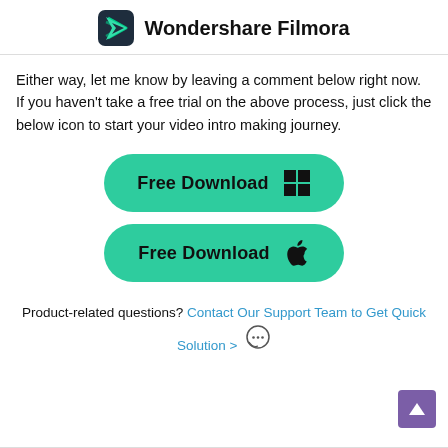Wondershare Filmora
Either way, let me know by leaving a comment below right now. If you haven't take a free trial on the above process, just click the below icon to start your video intro making journey.
[Figure (other): Two green pill-shaped download buttons: 'Free Download' with Windows logo, and 'Free Download' with Apple logo]
Product-related questions? Contact Our Support Team to Get Quick Solution >